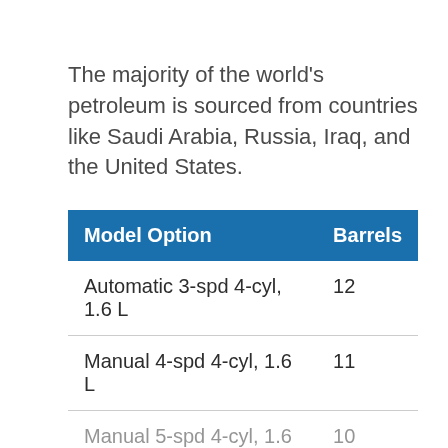The majority of the world's petroleum is sourced from countries like Saudi Arabia, Russia, Iraq, and the United States.
| Model Option | Barrels |
| --- | --- |
| Automatic 3-spd 4-cyl, 1.6 L | 12 |
| Manual 4-spd 4-cyl, 1.6 L | 11 |
| Manual 5-spd 4-cyl, 1.6 L | 10 |